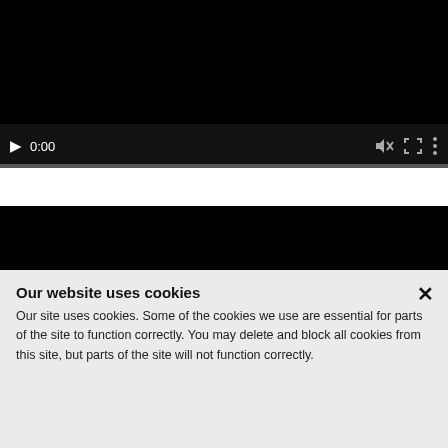[Figure (screenshot): Video player 1 with black screen, showing controls: play button, time 0:00, mute icon, fullscreen icon, more options icon, and a progress bar at the bottom.]
[Figure (screenshot): Video player 2 with entirely black screen, no visible controls.]
Our website uses cookies
Our site uses cookies. Some of the cookies we use are essential for parts of the site to function correctly. You may delete and block all cookies from this site, but parts of the site will not function correctly.